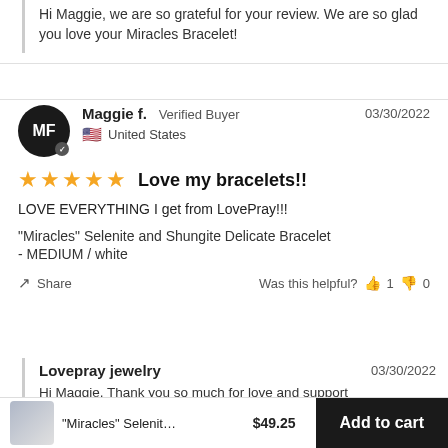Hi Maggie, we are so grateful for your review. We are so glad you love your Miracles Bracelet!
Maggie f.  Verified Buyer  03/30/2022  United States
★★★★★  Love my bracelets!!
LOVE EVERYTHING I get from LovePray!!!
"Miracles" Selenite and Shungite Delicate Bracelet
- MEDIUM / white
Share  Was this helpful?  👍 1  👎 0
Lovepray jewelry  03/30/2022
Hi Maggie, Thank you so much for love and support
"Miracles" Selenit…  $49.25  Add to cart